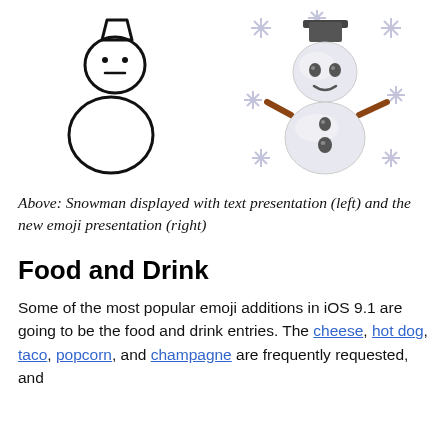[Figure (illustration): Two snowman illustrations side by side: left is a simple black-and-white outline drawing (text presentation), right is a full-color emoji-style snowman with hat, stick arms, buttons, and surrounding snowflakes (emoji presentation).]
Above: Snowman displayed with text presentation (left) and the new emoji presentation (right)
Food and Drink
Some of the most popular emoji additions in iOS 9.1 are going to be the food and drink entries. The cheese, hot dog, taco, popcorn, and champagne are frequently requested, and